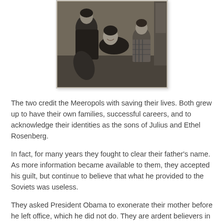[Figure (photo): Black and white photograph of a woman with two children, appearing to be a family portrait taken indoors.]
The two credit the Meeropols with saving their lives. Both grew up to have their own families, successful careers, and to acknowledge their identities as the sons of Julius and Ethel Rosenberg.
In fact, for many years they fought to clear their father's name. As more information became available to them, they accepted his guilt, but continue to believe that what he provided to the Soviets was useless.
They asked President Obama to exonerate their mother before he left office, which he did not do. They are ardent believers in their mother's innocence. She was convicted